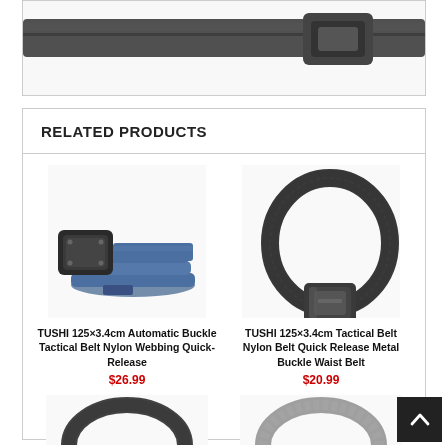[Figure (photo): Top portion of a belt product image, partially cropped at the top of the page]
RELATED PRODUCTS
[Figure (photo): TUSHI 125x3.4cm Automatic Buckle Tactical Belt Nylon Webbing Quick-Release - blue/navy belt with metal buckle]
TUSHI 125×3.4cm Automatic Buckle Tactical Belt Nylon Webbing Quick-Release
$26.99
[Figure (photo): TUSHI 125x3.4cm Tactical Belt Nylon Belt Quick Release Metal Buckle Waist Belt - black belt with metal buckle]
TUSHI 125×3.4cm Tactical Belt Nylon Belt Quick Release Metal Buckle Waist Belt
$20.99
[Figure (photo): Bottom portion of two additional product belt images, partially cropped]
[Figure (other): Back to top button arrow icon]